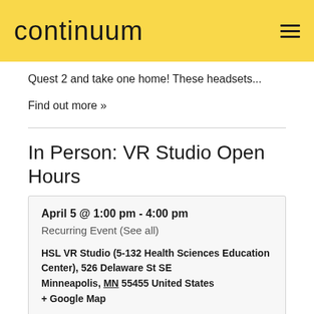continuum
Quest 2 and take one home! These headsets...
Find out more »
In Person: VR Studio Open Hours
April 5 @ 1:00 pm - 4:00 pm
Recurring Event (See all)
HSL VR Studio (5-132 Health Sciences Education Center), 526 Delaware St SE
Minneapolis, MN 55455 United States
+ Google Map
Everyone at the University is welcome to drop by